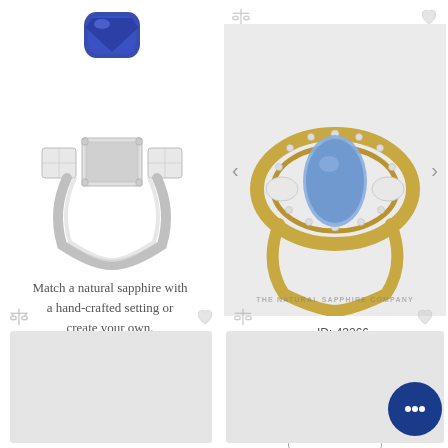[Figure (photo): Exploded view of a silver ring with diamond side stones and empty center setting, with a blue sapphire gemstone shown above it]
Match a natural sapphire with a hand-crafted setting or create your own.
Design Your Own
[Figure (photo): Yellow gold ring with oval blue sapphire center stone surrounded by diamond halo and diamond side stones, on gray background with The Natural Sapphire Company watermark]
ID: 43266
Center Stone: 0.78 Cts
Priced as shown:
$3,235
View ▶
[Figure (photo): Bottom left product card placeholder (gray rectangle)]
[Figure (photo): Bottom right product card placeholder (gray rectangle) with chat bubble overlay]